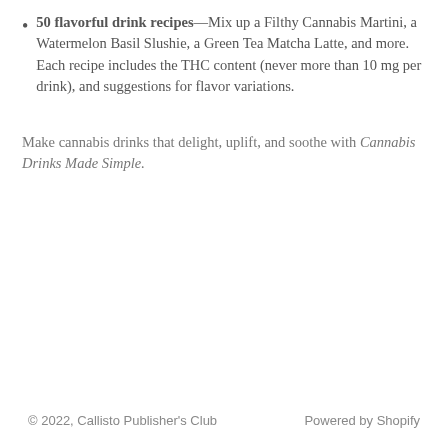50 flavorful drink recipes—Mix up a Filthy Cannabis Martini, a Watermelon Basil Slushie, a Green Tea Matcha Latte, and more. Each recipe includes the THC content (never more than 10 mg per drink), and suggestions for flavor variations.
Make cannabis drinks that delight, uplift, and soothe with Cannabis Drinks Made Simple.
© 2022, Callisto Publisher's Club    Powered by Shopify